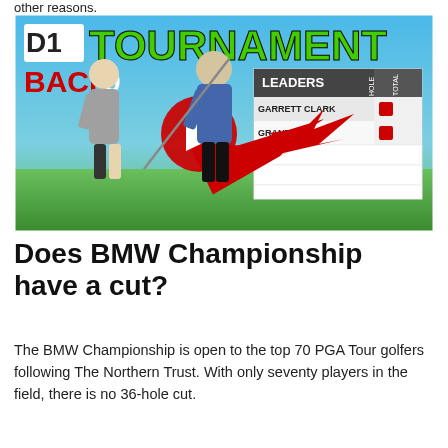other reasons.
[Figure (screenshot): YouTube video thumbnail for 'D1 Tournament Back 9' featuring two golfers swinging on a tropical course, with a leaderboard showing Garrett Clark and Grant Horvat, and a red YouTube play button overlay.]
Does BMW Championship have a cut?
The BMW Championship is open to the top 70 PGA Tour golfers following The Northern Trust. With only seventy players in the field, there is no 36-hole cut.